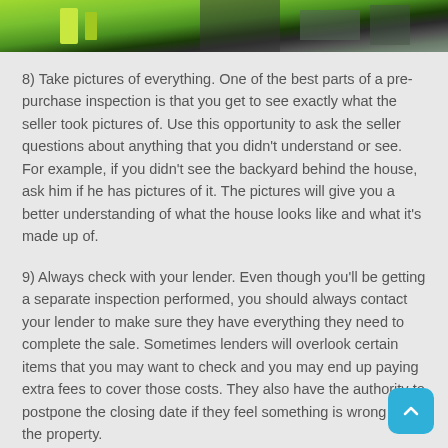[Figure (photo): Partial photo of green and dark industrial/vehicle equipment at top of page]
8) Take pictures of everything. One of the best parts of a pre-purchase inspection is that you get to see exactly what the seller took pictures of. Use this opportunity to ask the seller questions about anything that you didn't understand or see. For example, if you didn't see the backyard behind the house, ask him if he has pictures of it. The pictures will give you a better understanding of what the house looks like and what it's made up of.
9) Always check with your lender. Even though you'll be getting a separate inspection performed, you should always contact your lender to make sure they have everything they need to complete the sale. Sometimes lenders will overlook certain items that you may want to check and you may end up paying extra fees to cover those costs. They also have the authority to postpone the closing date if they feel something is wrong with the property.